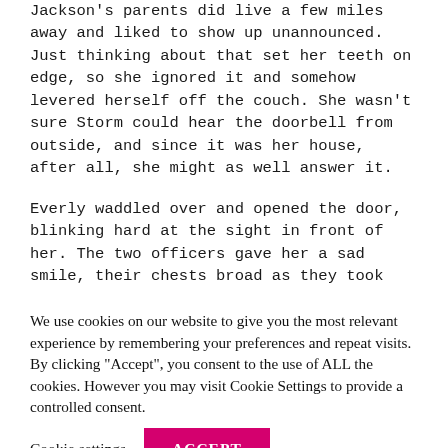Jackson's parents did live a few miles away and liked to show up unannounced. Just thinking about that set her teeth on edge, so she ignored it and somehow levered herself off the couch. She wasn't sure Storm could hear the doorbell from outside, and since it was her house, after all, she might as well answer it.
Everly waddled over and opened the door, blinking hard at the sight in front of her. The two officers gave her a sad smile, their chests broad as they took deep breaths. Her hands shook as she gripped the doorknob with one, the frame with the other.
We use cookies on our website to give you the most relevant experience by remembering your preferences and repeat visits. By clicking "Accept", you consent to the use of ALL the cookies. However you may visit Cookie Settings to provide a controlled consent.
Cookie settings   ACCEPT
softly, "May we…"
Everly's throat went dry, and she tried to keep the